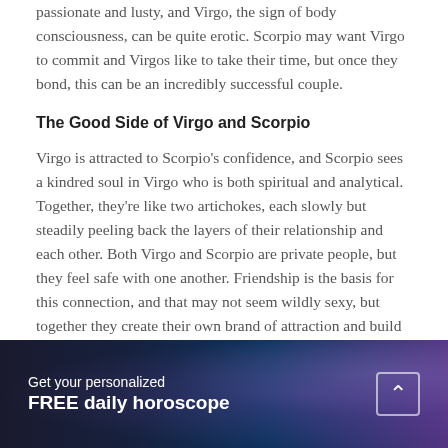passionate and lusty, and Virgo, the sign of body consciousness, can be quite erotic. Scorpio may want Virgo to commit and Virgos like to take their time, but once they bond, this can be an incredibly successful couple.
The Good Side of Virgo and Scorpio
Virgo is attracted to Scorpio's confidence, and Scorpio sees a kindred soul in Virgo who is both spiritual and analytical. Together, they're like two artichokes, each slowly but steadily peeling back the layers of their relationship and each other. Both Virgo and Scorpio are private people, but they feel safe with one another. Friendship is the basis for this connection, and that may not seem wildly sexy, but together they create their own brand of attraction and build a stable relationship that lasts a lifetime. Monogamy is important to both. Treating close friends and family to the culinary concoctions that these two whip-up together will be a favorite pastime and their home is a place that's warm and inviting.
Get your personalized FREE daily horoscope